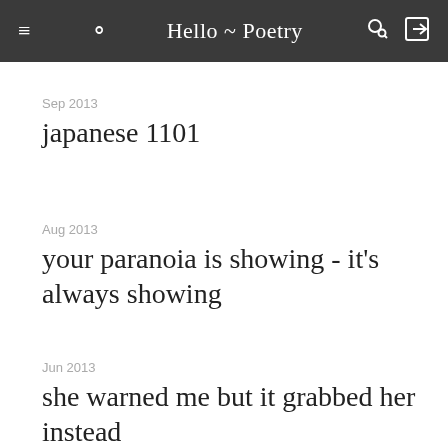Hello ~ Poetry
Sep 2013
japanese 1101
Aug 2013
your paranoia is showing - it's always showing
Jun 2013
she warned me but it grabbed her instead